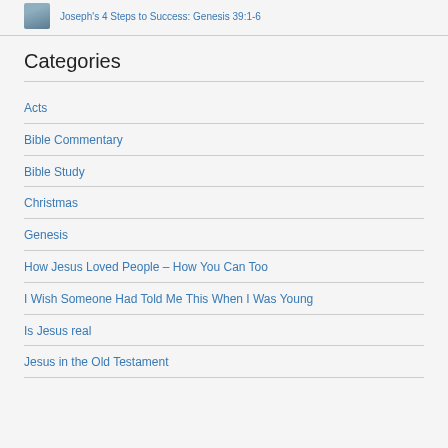Joseph's 4 Steps to Success: Genesis 39:1-6
Categories
Acts
Bible Commentary
Bible Study
Christmas
Genesis
How Jesus Loved People – How You Can Too
I Wish Someone Had Told Me This When I Was Young
Is Jesus real
Jesus in the Old Testament